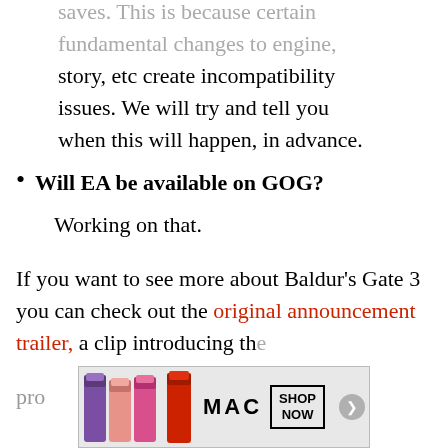saves. This is because certain fundamental changes to engine, story, etc create incompatibility issues. We will try and tell you when this will happen, in advance.
Will EA be available on GOG?
Working on that.
If you want to see more about Baldur's Gate 3 you can check out the original announcement trailer, a clip introducing the pro...
[Figure (advertisement): MAC cosmetics advertisement banner showing lipsticks and SHOP NOW button]